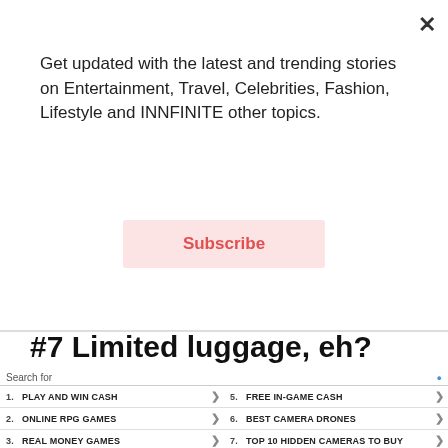Get updated with the latest and trending stories on Entertainment, Travel, Celebrities, Fashion, Lifestyle and INNFINITE other topics.
Subscribe
#7 Limited luggage, eh?
[Figure (photo): Two side-by-side photos: left shows a person in a green hat in a dark transit/bus scene with yellow poles; right shows people at an airport/transit terminal from behind.]
Close ad
Search for
1. PLAY AND WIN CASH
2. ONLINE RPG GAMES
3. REAL MONEY GAMES
4. EARN MONEY PLAYING GAMES
5. FREE IN-GAME CASH
6. BEST CAMERA DRONES
7. TOP 10 HIDDEN CAMERAS TO BUY
8. HIDDEN SURVEILLANCE CAMERAS
Business Focus